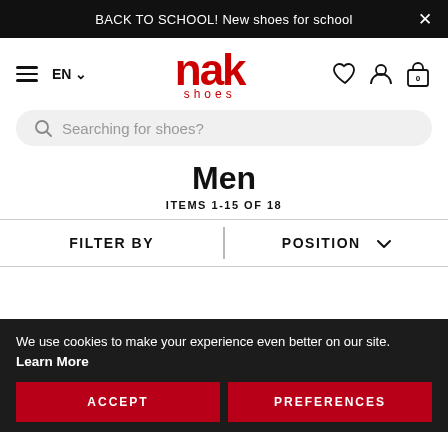BACK TO SCHOOL! New shoes for school
[Figure (logo): NAK shoes logo in red with hamburger menu and EN language selector on the left, and heart, user, and shopping bag icons on the right]
Searching for shoes?
Men
ITEMS 1-15 OF 18
FILTER BY | POSITION
We use cookies to make your experience even better on our site. Learn More
ACCEPT
PREFERENCES